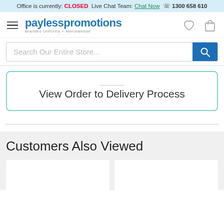Office is currently: CLOSED  Live Chat Team: Chat Now  ☎ 1300 658 610
[Figure (logo): Payless Promotions logo with hamburger menu icon, heart icon, and shopping bag icon in navigation bar]
Search Our Entire Store...
View Order to Delivery Process
Customers Also Viewed
[Figure (photo): Two white product card placeholders side by side in a grey background section]